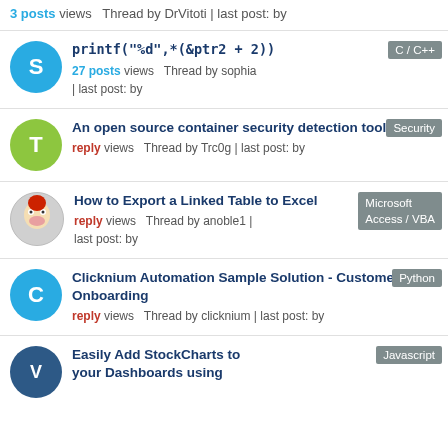3 posts views  Thread by DrVitoti | last post: by
printf("%d",*(&ptr2 + 2)) — C/C++ — 27 posts views Thread by sophia | last post: by
An open source container security detection tool — Security — reply views Thread by Trc0g | last post: by
How to Export a Linked Table to Excel — Microsoft Access / VBA — reply views Thread by anoble1 | last post: by
Clicknium Automation Sample Solution - Customer Onboarding — Python — reply views Thread by clicknium | last post: by
Easily Add StockCharts to your Dashboards using — Javascript